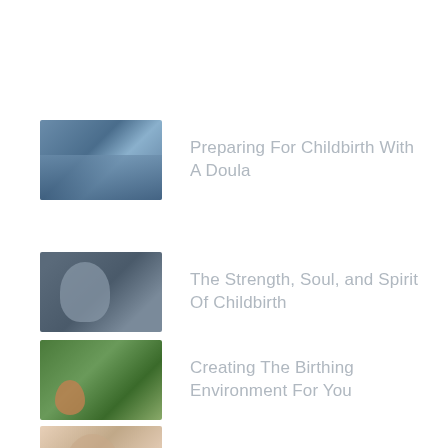Preparing For Childbirth With A Doula
The Strength, Soul, and Spirit Of Childbirth
Creating The Birthing Environment For You
Navigating A New Life